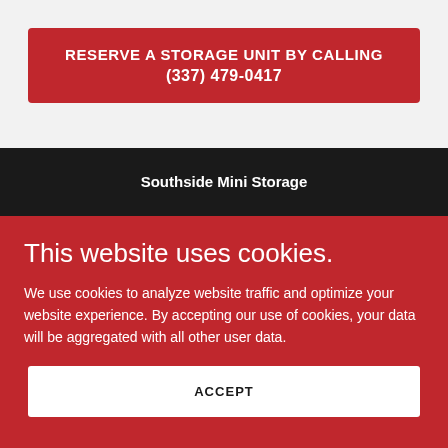RESERVE A STORAGE UNIT BY CALLING (337) 479-0417
Southside Mini Storage
This website uses cookies.
We use cookies to analyze website traffic and optimize your website experience. By accepting our use of cookies, your data will be aggregated with all other user data.
ACCEPT